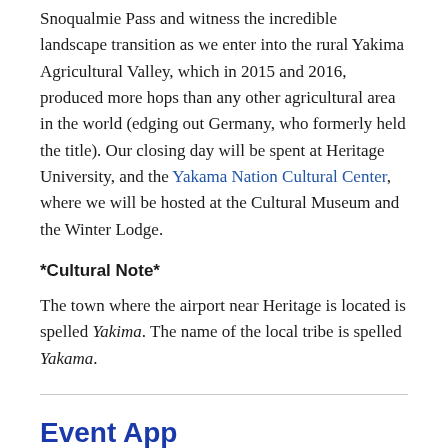Snoqualmie Pass and witness the incredible landscape transition as we enter into the rural Yakima Agricultural Valley, which in 2015 and 2016, produced more hops than any other agricultural area in the world (edging out Germany, who formerly held the title). Our closing day will be spent at Heritage University, and the Yakama Nation Cultural Center, where we will be hosted at the Cultural Museum and the Winter Lodge.
*Cultural Note*
The town where the airport near Heritage is located is spelled Yakima. The name of the local tribe is spelled Yakama.
Event App
Download our conference app to get the latest